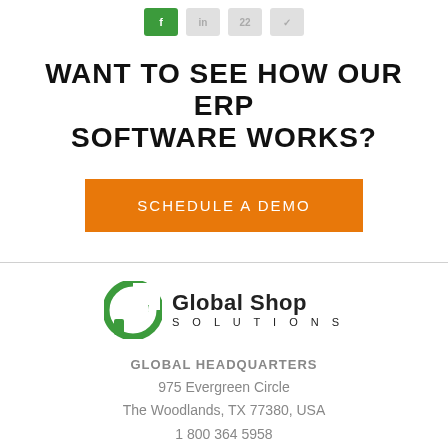[Figure (other): Social media icon buttons: green icon and three gray icons]
WANT TO SEE HOW OUR ERP SOFTWARE WORKS?
SCHEDULE A DEMO
[Figure (logo): Global Shop Solutions logo with green G icon and company name]
GLOBAL HEADQUARTERS
975 Evergreen Circle
The Woodlands, TX 77380, USA
1 800 364 5958